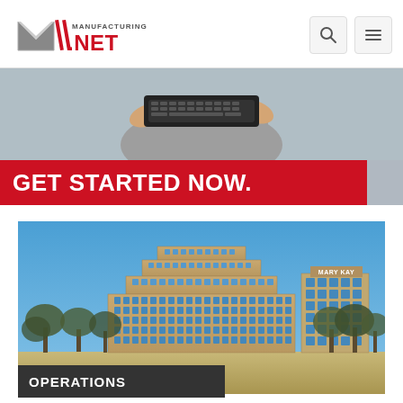[Figure (logo): Manufacturing.net logo — stylized M with silver lines and red bold NET text]
[Figure (photo): Banner advertisement showing hands holding a keyboard with red bar reading GET STARTED NOW.]
[Figure (photo): Exterior photo of Mary Kay corporate headquarters building — multi-story tan brick office complex with blue sky and trees in foreground]
OPERATIONS